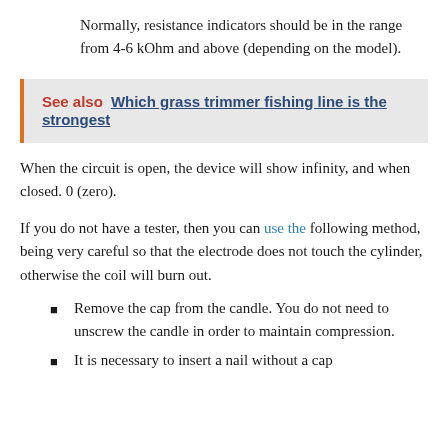Normally, resistance indicators should be in the range from 4-6 kOhm and above (depending on the model).
See also  Which grass trimmer fishing line is the strongest
When the circuit is open, the device will show infinity, and when closed. 0 (zero).
If you do not have a tester, then you can use the following method, being very careful so that the electrode does not touch the cylinder, otherwise the coil will burn out.
Remove the cap from the candle. You do not need to unscrew the candle in order to maintain compression.
It is necessary to insert a nail without a cap